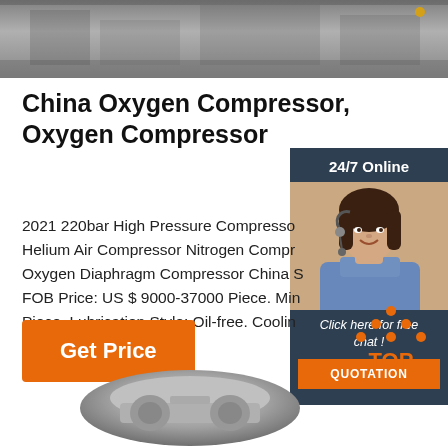[Figure (photo): Top banner photo showing industrial or outdoor scene with grey tones]
China Oxygen Compressor, Oxygen Compressor
[Figure (photo): Side widget with woman wearing headset, dark blue background, '24/7 Online' header, 'Click here for free chat!' text, orange QUOTATION button]
2021 220bar High Pressure Compressor Helium Air Compressor Nitrogen Compressor Oxygen Diaphragm Compressor China Supplier FOB Price: US $ 9000-37000 Piece. Min. Order: 1 Piece. Lubrication Style: Oil-free. Cooling Method: Air Cooling. Power …
[Figure (illustration): Orange 'Get Price' button]
[Figure (logo): Orange dotted triangle with 'TOP' text below in orange, back-to-top button]
[Figure (photo): Bottom portion showing industrial compressor equipment in grey tones]